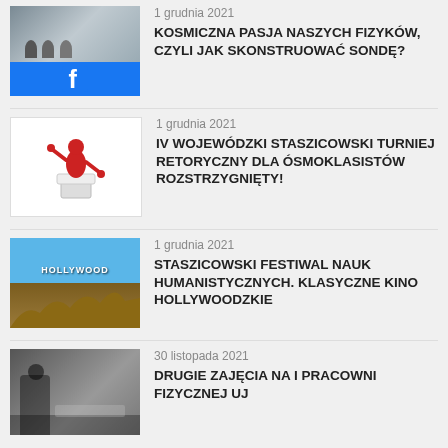[Figure (screenshot): Facebook logo thumbnail with group photo in background]
1 grudnia 2021
KOSMICZNA PASJA NASZYCH FIZYKÓW, CZYLI JAK SKONSTRUOWAĆ SONDĘ?
[Figure (illustration): Red 3D figure presenting at a podium]
1 grudnia 2021
IV WOJEWÓDZKI STASZICOWSKI TURNIEJ RETORYCZNY DLA ÓSMOKLASISTÓW ROZSTRZYGNIĘTY!
[Figure (photo): Hollywood sign photo with blue sky and hills]
1 grudnia 2021
STASZICOWSKI FESTIWAL NAUK HUMANISTYCZNYCH. KLASYCZNE KINO HOLLYWOODZKIE
[Figure (photo): Students in a physics laboratory]
30 listopada 2021
DRUGIE ZAJĘCIA NA I PRACOWNI FIZYCZNEJ UJ